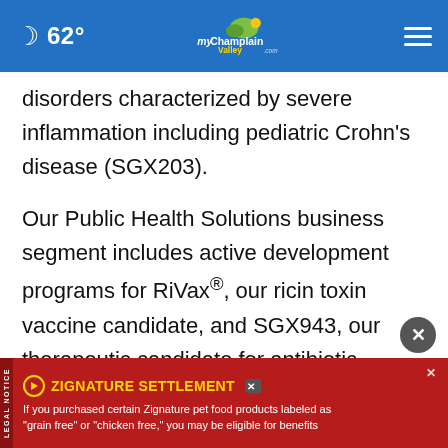62° myChamplainValley.com
disorders characterized by severe inflammation including pediatric Crohn's disease (SGX203).
Our Public Health Solutions business segment includes active development programs for RiVax®, our ricin toxin vaccine candidate, and SGX943, our therapeutic candidate for antibiotic resistant and emerging infectious disease, and our vaccine programs targeting filoviruses (such as Ma[rburg]... ine candi[date]...
[Figure (screenshot): Advertisement banner: ZIGNATURE SETTLEMENT - If you purchased certain Zignature pet food products labeled as 'grain free' or 'chicken free,' you may be eligible for benefits]